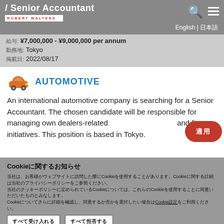/ Senior Accountant — ROBERT WALTERS
給与:  ¥7,000,000 - ¥9,000,000 per annum
勤務地:  Tokyo
掲載日:  2022/08/17
[Figure (logo): Orange car icon with AUTOMOTIVE text in blue]
An international automotive company is searching for a Senior Accountant. The chosen candidate will be responsible for managing own dealers-related and finance initiatives. This position is based in Tokyo.
Cookieに関するお知らせ
当社は、お客様がウェブサイトに訪問した際にCookieを使用することがあります。Cookieに関する詳細は当社のプライバシーポリシーをご参照ください。Cookieについてさらに詳細を確認し、同意するか否かを選択したい場合はCookie設定をご利用ください。
すべて受け入れる
すべて拒否する